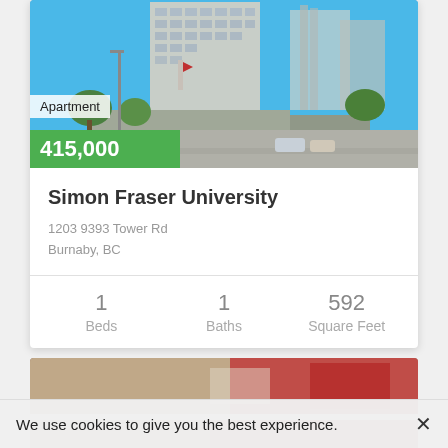[Figure (photo): Exterior photo of a modern high-rise apartment building with blue sky, street-level retail, and surrounding trees and road.]
Apartment
415,000
Simon Fraser University
1203 9393 Tower Rd
Burnaby, BC
1
Beds
1
Baths
592
Square Feet
[Figure (photo): Interior photo of a property listing, partially visible at bottom of page.]
We use cookies to give you the best experience.